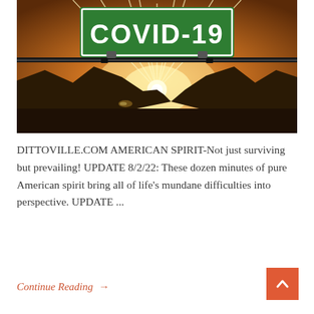[Figure (photo): A green highway-style COVID-19 sign mounted on a metal bar, with a dramatic sunset behind silhouetted mountain ridges. Sun rays burst from the horizon in golden and amber tones.]
DITTOVILLE.COM AMERICAN SPIRIT-Not just surviving but prevailing! UPDATE 8/2/22: These dozen minutes of pure American spirit bring all of life's mundane difficulties into perspective. UPDATE ...
Continue Reading →